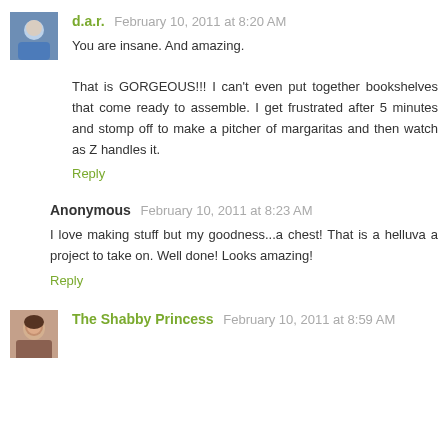[Figure (photo): Small square avatar photo of a person in blue outfit]
d.a.r.  February 10, 2011 at 8:20 AM
You are insane. And amazing.

That is GORGEOUS!!! I can't even put together bookshelves that come ready to assemble. I get frustrated after 5 minutes and stomp off to make a pitcher of margaritas and then watch as Z handles it.
Reply
Anonymous  February 10, 2011 at 8:23 AM
I love making stuff but my goodness...a chest! That is a helluva a project to take on. Well done! Looks amazing!
Reply
[Figure (photo): Small square avatar photo of a woman]
The Shabby Princess  February 10, 2011 at 8:59 AM